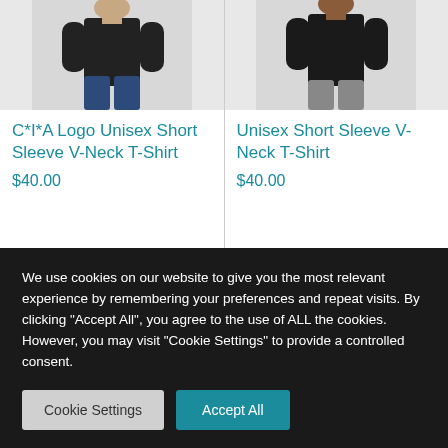[Figure (photo): Man wearing black t-shirt, left product card image]
C*I*A Logo Unisex Short Sleeve V-Neck T-Shirt
$40.00
[Figure (photo): Man wearing black t-shirt, right product card image]
Unisex Short Sleeve V-Neck T-Shirt
$40.00
We use cookies on our website to give you the most relevant experience by remembering your preferences and repeat visits. By clicking "Accept All", you agree to the use of ALL the cookies. However, you may visit "Cookie Settings" to provide a controlled consent.